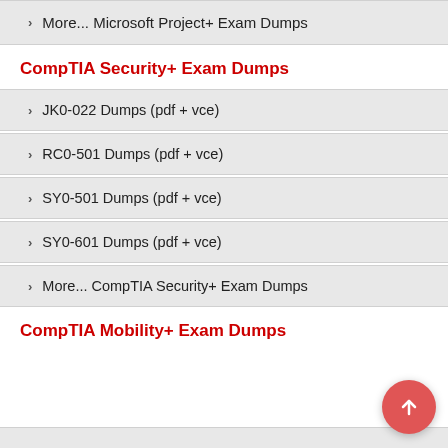> More... Microsoft Project+ Exam Dumps
CompTIA Security+ Exam Dumps
> JK0-022 Dumps (pdf + vce)
> RC0-501 Dumps (pdf + vce)
> SY0-501 Dumps (pdf + vce)
> SY0-601 Dumps (pdf + vce)
> More... CompTIA Security+ Exam Dumps
CompTIA Mobility+ Exam Dumps